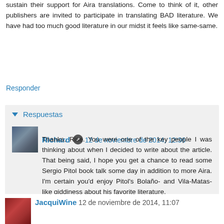sustain their support for Aira translations. Come to think of it, other publishers are invited to participate in translating BAD literature. We have had too much good literature in our midst it feels like same-same.
Responder
Respuestas
Richard 12 de noviembre de 2014, 12:36
Thanks, Rise. You were one of the key people I was thinking about when I decided to write about the article. That being said, I hope you get a chance to read some Sergio Pitol book talk some day in addition to more Aira. I'm certain you'd enjoy Pitol's Bolaño- and Vila-Matas-like giddiness about his favorite literature.
Responder
JacquiWine 12 de noviembre de 2014, 11:07